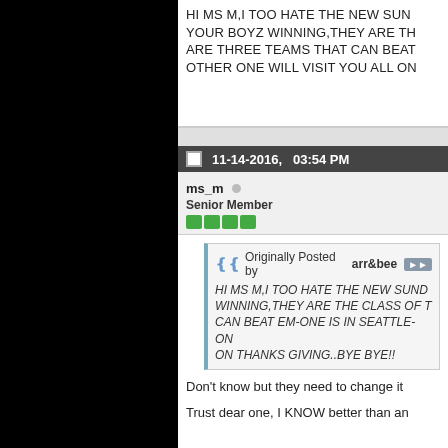HI MS M,I TOO HATE THE NEW SUN... YOUR BOYZ WINNING,THEY ARE TH... ARE THREE TEAMS THAT CAN BEAT... OTHER ONE WILL VISIT YOU ALL ON...
11-14-2016, 03:54 PM
ms_m
Senior Member
Originally Posted by arr&bee
HI MS M,I TOO HATE THE NEW SUND... WINNING,THEY ARE THE CLASS OF T... CAN BEAT EM-ONE IS IN SEATTLE-ON... ON THANKS GIVING..BYE BYE!!
Don't know but they need to change it
Trust dear one, I KNOW better than an